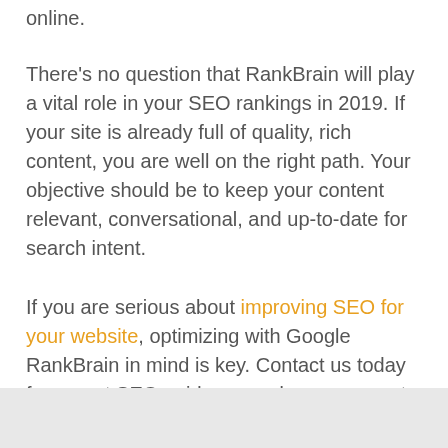online.
There's no question that RankBrain will play a vital role in your SEO rankings in 2019. If your site is already full of quality, rich content, you are well on the right path. Your objective should be to keep your content relevant, conversational, and up-to-date for search intent.
If you are serious about improving SEO for your website, optimizing with Google RankBrain in mind is key. Contact us today for expert SEO guidance and management. We take the hassle and confusion out of optimizing your website!